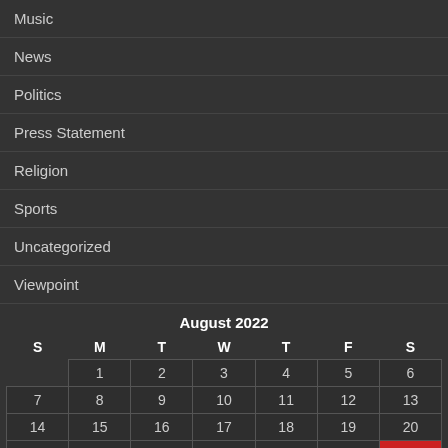Music
News
Politics
Press Statement
Religion
Sports
Uncategorized
Viewpoint
| S | M | T | W | T | F | S |
| --- | --- | --- | --- | --- | --- | --- |
|  | 1 | 2 | 3 | 4 | 5 | 6 |
| 7 | 8 | 9 | 10 | 11 | 12 | 13 |
| 14 | 15 | 16 | 17 | 18 | 19 | 20 |
| 21 | 22 | 23 | 24 | 25 | 26 | 27 |
| 28 | 29 | 30 | 31 |  |  |  |